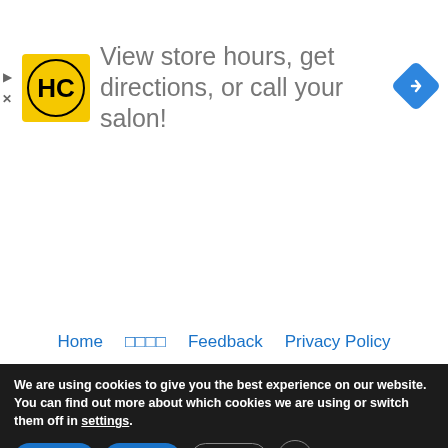[Figure (screenshot): Advertisement banner for Hair Club (HC) salon finder. Yellow HC logo on left, text 'View store hours, get directions, or call your salon!' in grey, blue diamond navigation icon on right. Small play and close (X) controls on far left.]
Home  □□□□  Feedback  Privacy Policy
We are using cookies to give you the best experience on our website.
You can find out more about which cookies we are using or switch them off in settings.
Accept   Reject   Settings   ✕